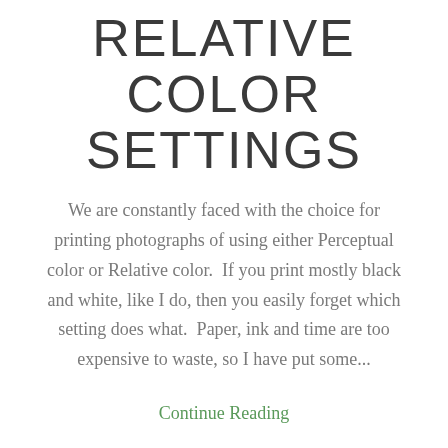RELATIVE COLOR SETTINGS
We are constantly faced with the choice for printing photographs of using either Perceptual color or Relative color.  If you print mostly black and white, like I do, then you easily forget which setting does what.  Paper, ink and time are too expensive to waste, so I have put some...
Continue Reading